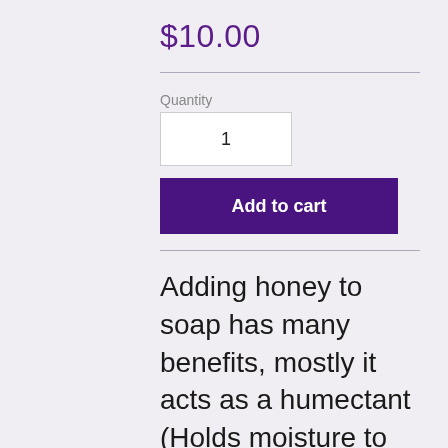$10.00
Quantity
1
Add to cart
Adding honey to soap has many benefits, mostly it acts as a humectant (Holds moisture to the skin) which makes this soap not only conditioning but leaves your skin feeling soft and moisturized.  The addition